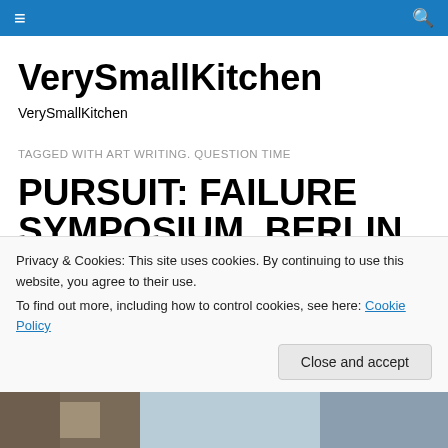VerySmallKitchen — navigation bar with hamburger menu and search icon
VerySmallKitchen
VerySmallKitchen
TAGGED WITH ART WRITING. QUESTION TIME
PURSUIT: FAILURE SYMPOSIUM, BERLIN, 5-7 NOV 2010
Privacy & Cookies: This site uses cookies. By continuing to use this website, you agree to their use.
To find out more, including how to control cookies, see here: Cookie Policy
Close and accept
[Figure (photo): Partial photograph visible at bottom of page]